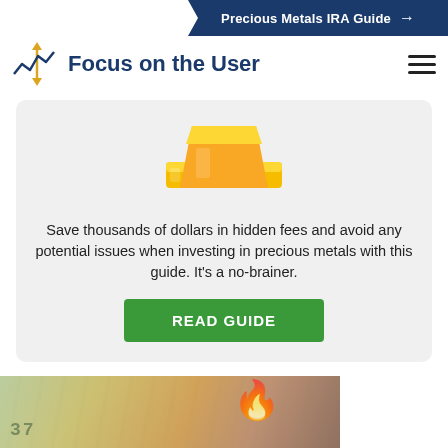Precious Metals IRA Guide →
Focus on the User
Save thousands of dollars in hidden fees and avoid any potential issues when investing in precious metals with this guide. It's a no-brainer.
READ GUIDE
[Figure (photo): Burning dollar bills — money on fire, close-up photograph]